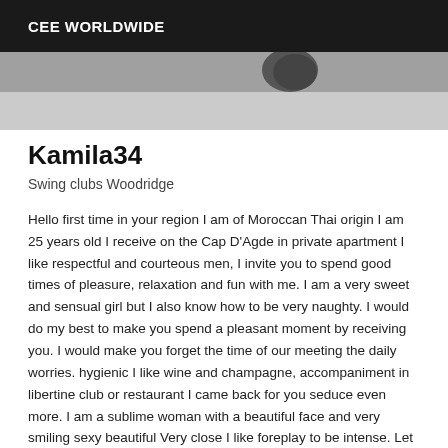CEE WORLDWIDE
[Figure (photo): Partial photo showing a floor surface, top portion of image cropped]
Kamila34
Swing clubs Woodridge
Hello first time in your region I am of Moroccan Thai origin I am 25 years old I receive on the Cap D'Agde in private apartment I like respectful and courteous men, I invite you to spend good times of pleasure, relaxation and fun with me. I am a very sweet and sensual girl but I also know how to be very naughty. I would do my best to make you spend a pleasant moment by receiving you. I would make you forget the time of our meeting the daily worries. hygienic I like wine and champagne, accompaniment in libertine club or restaurant I came back for you seduce even more. I am a sublime woman with a beautiful face and very smiling sexy beautiful Very close I like foreplay to be intense. Let me take you into